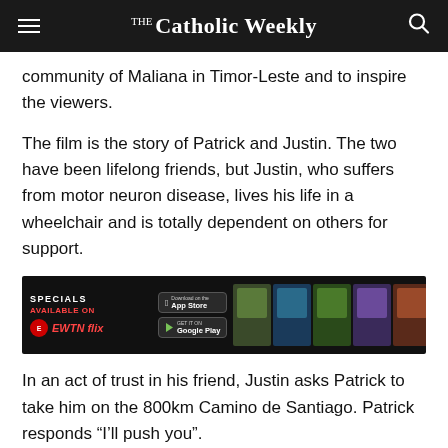The Catholic Weekly
community of Maliana in Timor-Leste and to inspire the viewers.
The film is the story of Patrick and Justin. The two have been lifelong friends, but Justin, who suffers from motor neuron disease, lives his life in a wheelchair and is totally dependent on others for support.
[Figure (infographic): EWTN flix advertisement banner showing movie thumbnails available on App Store and Google Play]
In an act of trust in his friend, Justin asks Patrick to take him on the 800km Camino de Santiago. Patrick responds “I’ll push you”.